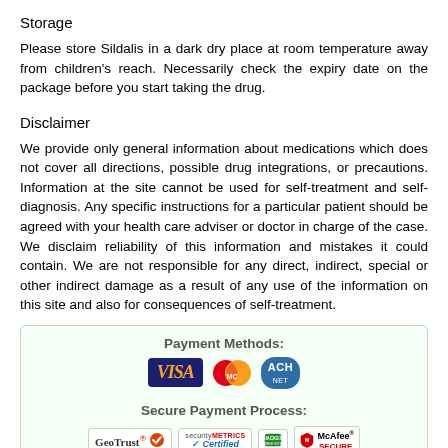Storage
Please store Sildalis in a dark dry place at room temperature away from children's reach. Necessarily check the expiry date on the package before you start taking the drug.
Disclaimer
We provide only general information about medications which does not cover all directions, possible drug integrations, or precautions. Information at the site cannot be used for self-treatment and self-diagnosis. Any specific instructions for a particular patient should be agreed with your health care adviser or doctor in charge of the case. We disclaim reliability of this information and mistakes it could contain. We are not responsible for any direct, indirect, special or other indirect damage as a result of any use of the information on this site and also for consequences of self-treatment.
[Figure (infographic): Payment methods box showing VISA, Mastercard, ACH logos and secure payment process logos: GeoTrust, SecurityMetrics Certified, Hacker Free Site, McAfee Secure]